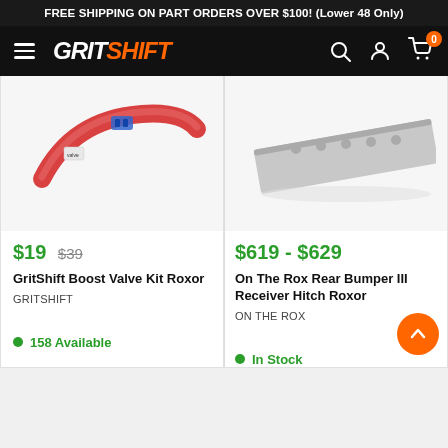FREE SHIPPING ON PART ORDERS OVER $100! (Lower 48 Only)
[Figure (logo): GritShift logo with hamburger menu and nav icons (search, account, cart with 0 badge)]
[Figure (photo): GritShift Boost Valve Kit Roxor product image - red/pink hose with blue connector]
$19  $39
GritShift Boost Valve Kit Roxor
GRITSHIFT
158 Available
[Figure (photo): On The Rox Rear Bumper III Receiver Hitch Roxor product image - grey metal bar with holes]
$619 - $629
On The Rox Rear Bumper III Receiver Hitch Roxor
ON THE ROX
In Stock